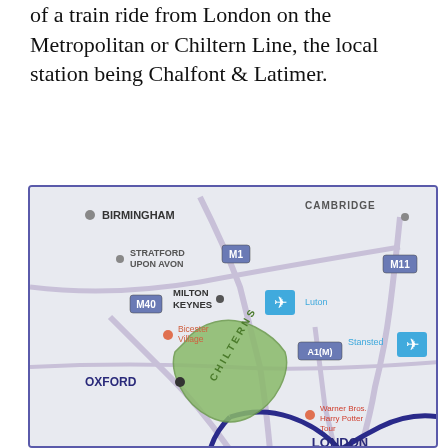of a train ride from London on the Metropolitan or Chiltern Line, the local station being Chalfont & Latimer.
[Figure (map): Regional map showing areas around London including Birmingham, Cambridge, Stratford upon Avon, Oxford, Milton Keynes, the Chilterns area highlighted in green, Bicester Village, Luton airport, Stansted airport, Warner Bros Harry Potter Tour, and London. Roads M1, M40, M11, A1(M) are marked.]